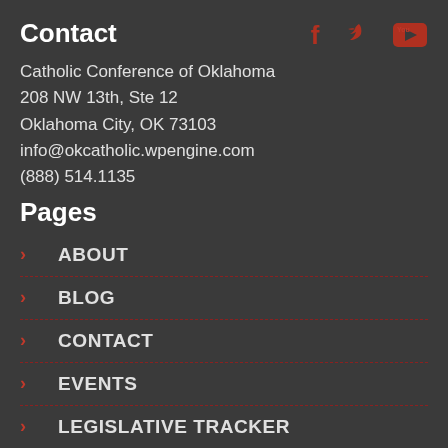Contact
Catholic Conference of Oklahoma
208 NW 13th, Ste 12
Oklahoma City, OK 73103
info@okcatholic.wpengine.com
(888) 514.1135
[Figure (other): Social media icons: Facebook, Twitter, YouTube in red/dark red]
Pages
ABOUT
BLOG
CONTACT
EVENTS
LEGISLATIVE TRACKER
MEDIA